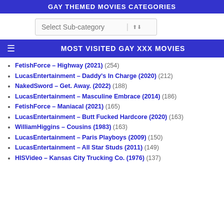GAY THEMED MOVIES CATEGORIES
Select Sub-category
MOST VISITED GAY XXX MOVIES
FetishForce – Highway (2021) (254)
LucasEntertainment – Daddy's In Charge (2020) (212)
NakedSword – Get. Away. (2022) (188)
LucasEntertainment – Masculine Embrace (2014) (186)
FetishForce – Maniacal (2021) (165)
LucasEntertainment – Butt Fucked Hardcore (2020) (163)
WilliamHiggins – Cousins (1983) (163)
LucasEntertainment – Paris Playboys (2009) (150)
LucasEntertainment – All Star Studs (2011) (149)
HISVideo – Kansas City Trucking Co. (1976) (137)